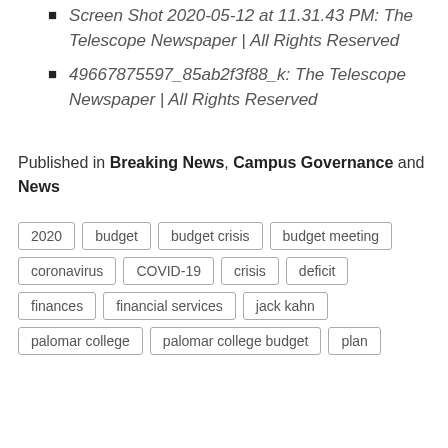Screen Shot 2020-05-12 at 11.31.43 PM: The Telescope Newspaper | All Rights Reserved
49667875597_85ab2f3f88_k: The Telescope Newspaper | All Rights Reserved
Published in Breaking News, Campus Governance and News
2020
budget
budget crisis
budget meeting
coronavirus
COVID-19
crisis
deficit
finances
financial services
jack kahn
palomar college
palomar college budget
plan